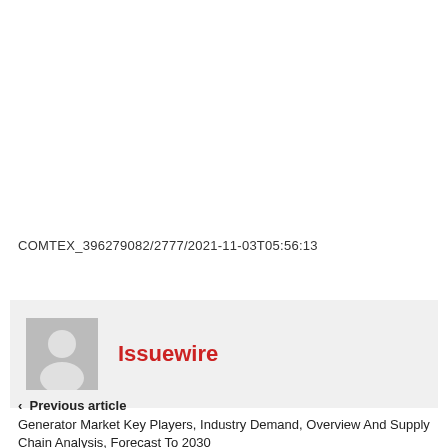COMTEX_396279082/2777/2021-11-03T05:56:13
Issuewire
< Previous article
Generator Market Key Players, Industry Demand, Overview And Supply Chain Analysis, Forecast To 2030